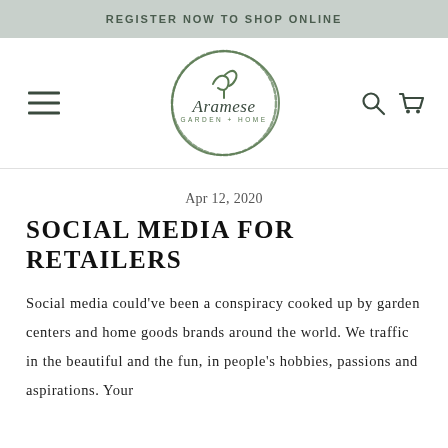REGISTER NOW TO SHOP ONLINE
[Figure (logo): Aramese Garden + Home circular logo with decorative plant/sprout motif in green brushstroke circle style]
Apr 12, 2020
SOCIAL MEDIA FOR RETAILERS
Social media could've been a conspiracy cooked up by garden centers and home goods brands around the world. We traffic in the beautiful and the fun, in people's hobbies, passions and aspirations. Your